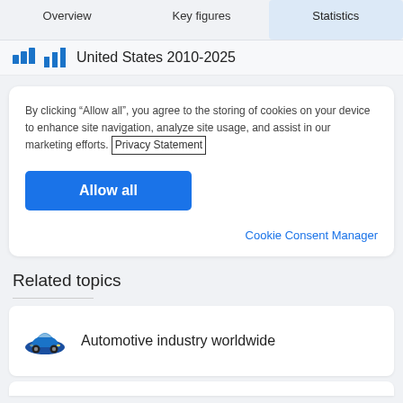Overview | Key figures | Statistics
United States 2010-2025
By clicking “Allow all”, you agree to the storing of cookies on your device to enhance site navigation, analyze site usage, and assist in our marketing efforts. Privacy Statement
Allow all
Cookie Consent Manager
Related topics
Automotive industry worldwide